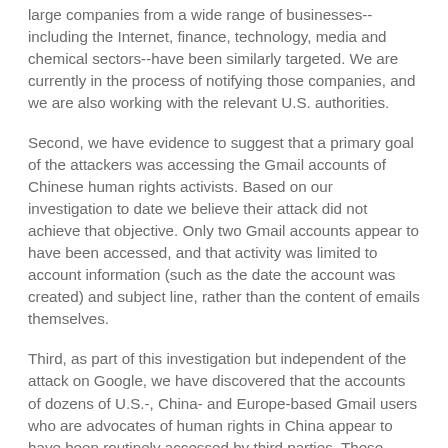large companies from a wide range of businesses--including the Internet, finance, technology, media and chemical sectors--have been similarly targeted. We are currently in the process of notifying those companies, and we are also working with the relevant U.S. authorities.
Second, we have evidence to suggest that a primary goal of the attackers was accessing the Gmail accounts of Chinese human rights activists. Based on our investigation to date we believe their attack did not achieve that objective. Only two Gmail accounts appear to have been accessed, and that activity was limited to account information (such as the date the account was created) and subject line, rather than the content of emails themselves.
Third, as part of this investigation but independent of the attack on Google, we have discovered that the accounts of dozens of U.S.-, China- and Europe-based Gmail users who are advocates of human rights in China appear to have been routinely accessed by third parties. These accounts have not been accessed through any security breach at Google, but most likely via phishing scams or malware placed on the